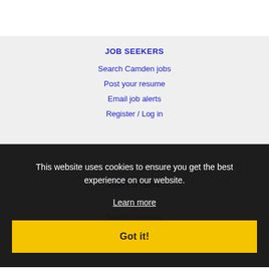JOB SEEKERS
Search Camden jobs
Post your resume
Email job alerts
Register / Log in
EMPLOYERS
Post jobs
Search resumes
Email resume alerts
Advertising
This website uses cookies to ensure you get the best experience on our website.
Learn more
Got it!